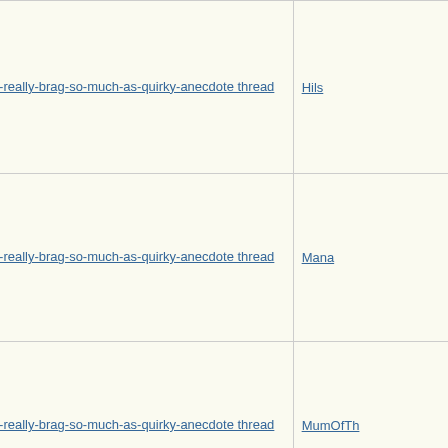| Subject | Author |
| --- | --- |
| Re: Not-really-brag-so-much-as-quirky-anecdote thread | Hils |
| Re: Not-really-brag-so-much-as-quirky-anecdote thread | Mana |
| Re: Not-really-brag-so-much-as-quirky-anecdote thread | MumOfTh |
| Re: Not-really-brag-so-much-as-quirky-anecdote thread | aquinas |
| Re: Not-really-brag-so-much-as-quirky-anecdote thread | ultramarin |
| Re: Not-really-brag-so-much-as-quirky-anecdote thread | Ametrine |
| Re: Not-really-brag-so-much-as-quirky-anecdote thread |  |